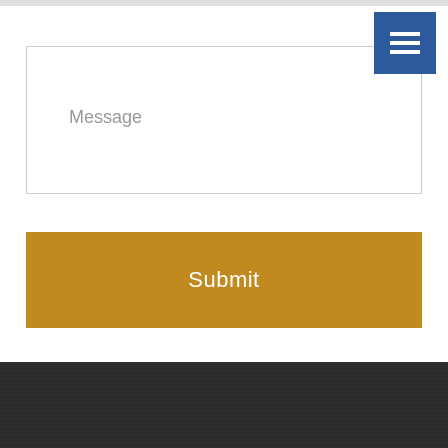[Figure (screenshot): Navigation hamburger menu button — blue square with three white horizontal bars]
Message
Submit
Site Navigation
Home
About